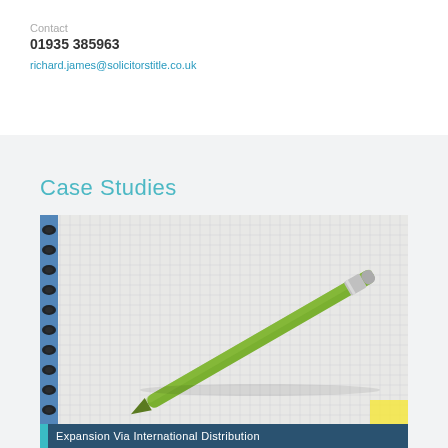Contact
01935 385963
richard.james@solicitorstitle.co.uk
Case Studies
[Figure (photo): Green pen resting on a grid-lined spiral notebook, photographed close-up]
Expansion Via International Distribution